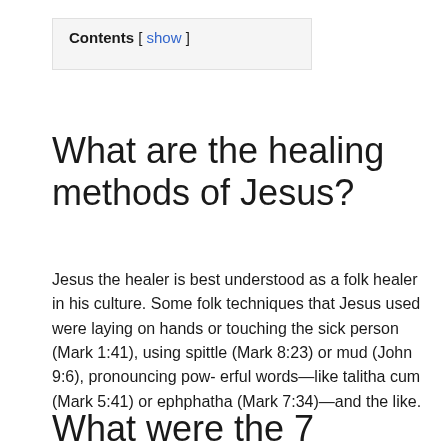Contents [ show ]
What are the healing methods of Jesus?
Jesus the healer is best understood as a folk healer in his culture. Some folk techniques that Jesus used were laying on hands or touching the sick person (Mark 1:41), using spittle (Mark 8:23) or mud (John 9:6), pronouncing pow- erful words—like talitha cum (Mark 5:41) or ephphatha (Mark 7:34)—and the like.
What were the 7 Miracles of